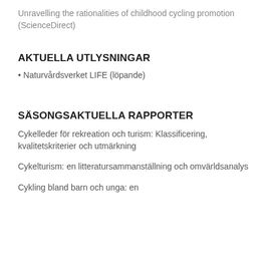Unravelling the rationalities of childhood cycling promotion (ScienceDirect)
AKTUELLA UTLYSNINGAR
Naturvårdsverket LIFE (löpande)
SÄSONGSAKTUELLA RAPPORTER
Cykelleder för rekreation och turism: Klassificering, kvalitetskriterier och utmärkning
Cykelturism: en litteratursammanställning och omvärldsanalys
Cykling bland barn och unga: en